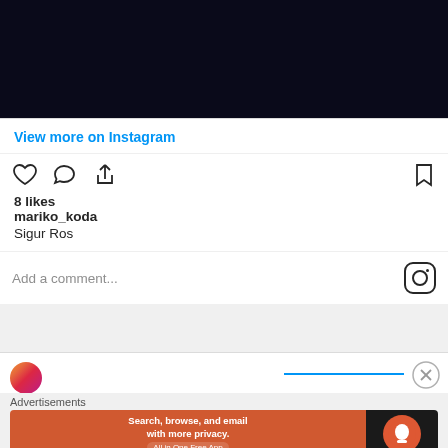[Figure (photo): Dark navy/black Instagram photo, likely a night sky or dark scene]
View more on Instagram
8 likes
mariko_koda
Sigur Ros
Add a comment...
Advertisements
Search, browse, and email with more privacy. All in One Free App